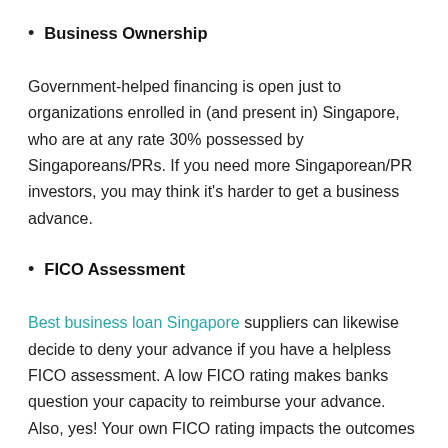Business Ownership
Government-helped financing is open just to organizations enrolled in (and present in) Singapore, who are at any rate 30% possessed by Singaporeans/PRs. If you need more Singaporean/PR investors, you may think it’s harder to get a business advance.
FICO Assessment
Best business loan Singapore suppliers can likewise decide to deny your advance if you have a helpless FICO assessment. A low FICO rating makes banks question your capacity to reimburse your advance. Also, yes! Your own FICO rating impacts the outcomes regardless of whether it’s for business credit.